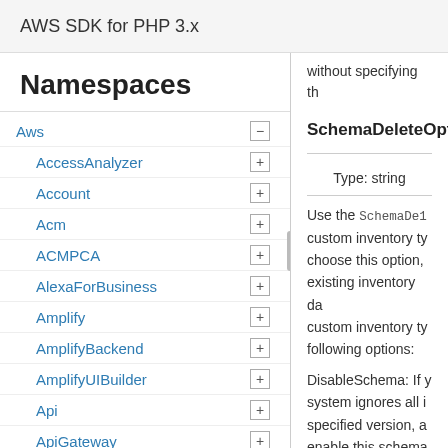AWS SDK for PHP 3.x
Namespaces
Aws
AccessAnalyzer
Account
Acm
ACMPCA
AlexaForBusiness
Amplify
AmplifyBackend
AmplifyUIBuilder
Api
ApiGateway
ApiGatewayManagementApi
without specifying th
SchemaDeleteOption
Type: string
Use the SchemaDe1... custom inventory ty... choose this option, existing inventory da... custom inventory ty... following options:
DisableSchema: If y... system ignores all i... specified version, a... enable this schema...